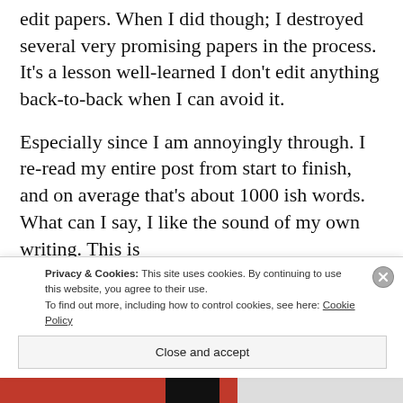edit papers. When I did though; I destroyed several very promising papers in the process. It's a lesson well-learned I don't edit anything back-to-back when I can avoid it.
Especially since I am annoyingly through. I re-read my entire post from start to finish, and on average that's about 1000 ish words. What can I say, I like the sound of my own writing. This is
Privacy & Cookies: This site uses cookies. By continuing to use this website, you agree to their use.
To find out more, including how to control cookies, see here: Cookie Policy
Close and accept